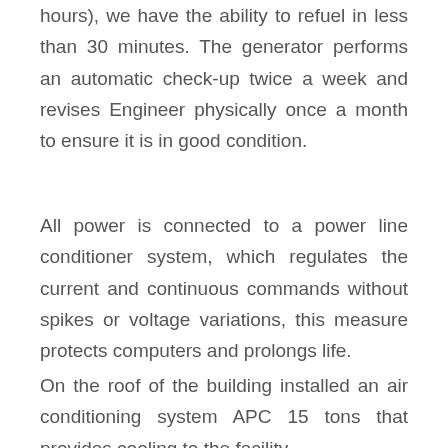hours), we have the ability to refuel in less than 30 minutes. The generator performs an automatic check-up twice a week and revises Engineer physically once a month to ensure it is in good condition.
All power is connected to a power line conditioner system, which regulates the current and continuous commands without spikes or voltage variations, this measure protects computers and prolongs life.
On the roof of the building installed an air conditioning system APC 15 tons that provides cooling to the facility.